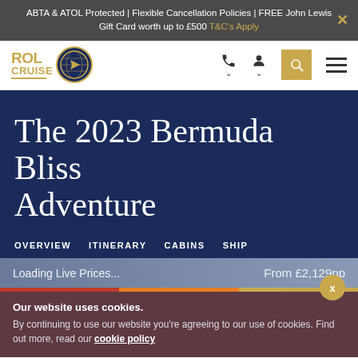ABTA & ATOL Protected | Flexible Cancellation Policies | FREE John Lewis Gift Card worth up to £500 T&C's Apply
[Figure (logo): ROL Cruise logo with gold text and navy circular emblem]
The 2023 Bermuda Bliss Adventure
OVERVIEW  ITINERARY  CABINS  SHIP
Loading Live Prices... From £2,129pp
Our website uses cookies. By continuing to use our website you're agreeing to our use of cookies. Find out more, read our cookie policy